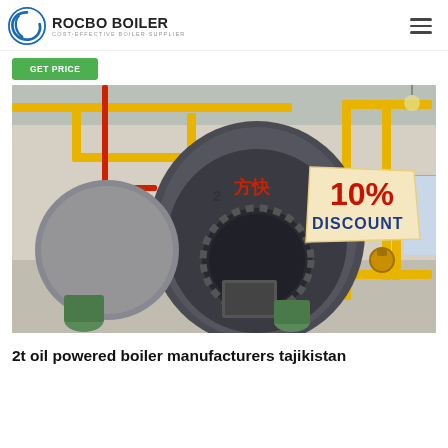ROCBO BOILER - COST-EFFECTIVE BOILER SUPPLIER
[Figure (logo): Rocbo Boiler logo with circular icon on the left and company name and tagline on the right]
Get Price
[Figure (photo): Industrial boiler room showing large horizontal fire-tube boilers with yellow and red piping infrastructure. A '10% DISCOUNT' badge is overlaid on the upper right of the image.]
2t oil powered boiler manufacturers tajikistan